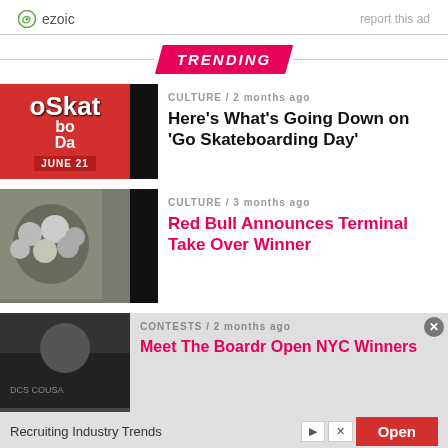[Figure (logo): Ezoic logo with 'report this ad' text on right]
TRENDING
[Figure (photo): Go Skateboarding Day thumbnail - red background with text JUNE 21]
CULTURE / 2 months ago
Here’s What’s Going Down on ‘Go Skateboarding Day’
[Figure (photo): Group of people photo for Red Bull article]
CULTURE / 3 months ago
Red Bull Announces Terminal Take Over Winner
[Figure (photo): Boardr Open NYC photo]
CONTESTS / 2 months ago
Meet The Boardr Open NYC Winners
Recruiting Industry Trends
Ad
Open